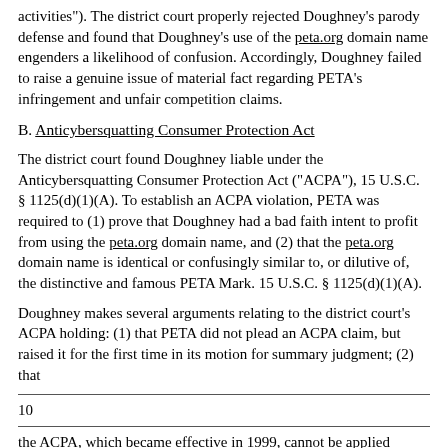activities"). The district court properly rejected Doughney's parody defense and found that Doughney's use of the peta.org domain name engenders a likelihood of confusion. Accordingly, Doughney failed to raise a genuine issue of material fact regarding PETA's infringement and unfair competition claims.
B. Anticybersquatting Consumer Protection Act
The district court found Doughney liable under the Anticybersquatting Consumer Protection Act ("ACPA"), 15 U.S.C. § 1125(d)(1)(A). To establish an ACPA violation, PETA was required to (1) prove that Doughney had a bad faith intent to profit from using the peta.org domain name, and (2) that the peta.org domain name is identical or confusingly similar to, or dilutive of, the distinctive and famous PETA Mark. 15 U.S.C. § 1125(d)(1)(A).
Doughney makes several arguments relating to the district court's ACPA holding: (1) that PETA did not plead an ACPA claim, but raised it for the first time in its motion for summary judgment; (2) that
10
the ACPA, which became effective in 1999, cannot be applied retroactively to events that occurred in 1995 and 1996; (3) that Doughney did not seek to financially profit from his use of PETA's